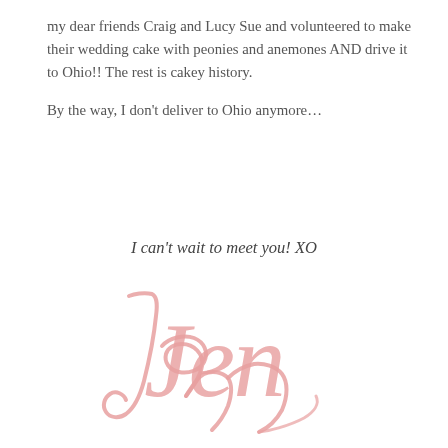my dear friends Craig and Lucy Sue and volunteered to make their wedding cake with peonies and anemones AND drive it to Ohio!! The rest is cakey history.

By the way, I don't deliver to Ohio anymore…
I can't wait to meet you! XO
[Figure (illustration): Cursive script signature reading 'Jen' in a light pink/rose color]